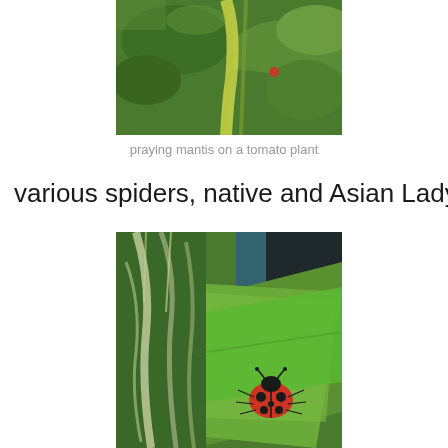[Figure (photo): Close-up photograph of a praying mantis on a tomato plant with green leaves and stems, a small red insect visible in the background]
praying mantis on a tomato plant
various spiders, native and Asian Ladybugs,
[Figure (photo): Close-up photograph of a red ladybug with black spots sitting on a broad green leaf, with green plant stems visible in the background and blue sky]